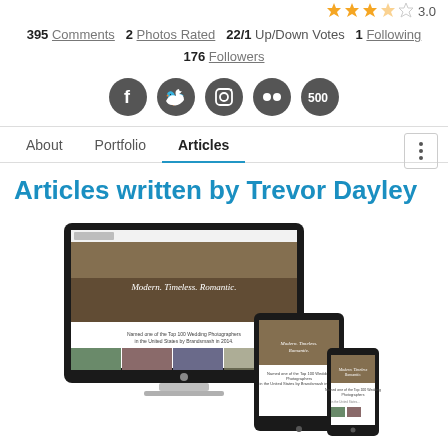395 Comments  2 Photos Rated  22/1 Up/Down Votes  1 Following  176 Followers
[Figure (illustration): Row of five circular dark gray social media icons: Facebook, Twitter, Instagram, Flickr, 500px]
About  Portfolio  Articles (active tab)
Articles written by Trevor Dayley
[Figure (screenshot): Screenshot of Trevor Dayley photography website shown on iMac desktop, iPad tablet, and iPhone mobile devices. The website shows 'Modern. Timeless. Romantic.' and mentions being Named one of the Top 100 Wedding Photographers in the United States by Brandsmash in 2014.]